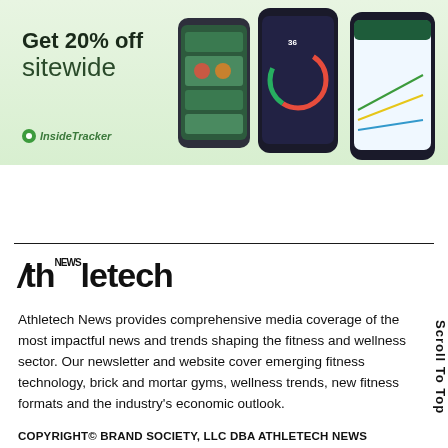[Figure (screenshot): InsideTracker advertisement banner with light green background showing 'Get 20% off sitewide' text and app screenshots on mobile phones]
[Figure (logo): Athletech News logo in bold black sans-serif font with stylized slash and 'NEWS' superscript]
Athletech News provides comprehensive media coverage of the most impactful news and trends shaping the fitness and wellness sector. Our newsletter and website cover emerging fitness technology, brick and mortar gyms, wellness trends, new fitness formats and the industry's economic outlook.
COPYRIGHT© BRAND SOCIETY, LLC DBA ATHLETECH NEWS